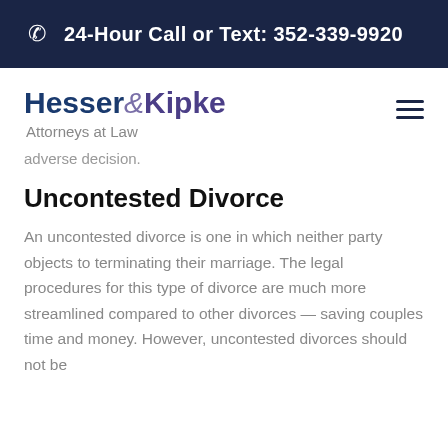24-Hour Call or Text: 352-339-9920
[Figure (logo): Hesser & Kipke Attorneys at Law logo]
adverse decision.
Uncontested Divorce
An uncontested divorce is one in which neither party objects to terminating their marriage. The legal procedures for this type of divorce are much more streamlined compared to other divorces — saving couples time and money. However, uncontested divorces should not be